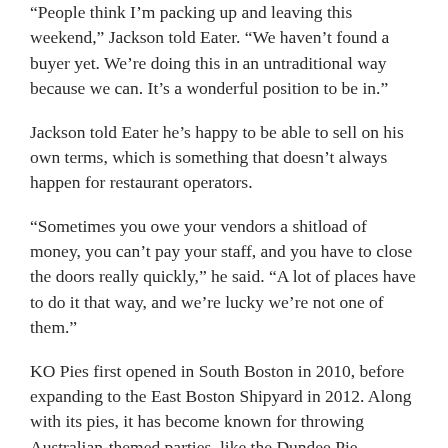“People think I’m packing up and leaving this weekend,” Jackson told Eater. “We haven’t found a buyer yet. We’re doing this in an untraditional way because we can. It’s a wonderful position to be in.”
Jackson told Eater he’s happy to be able to sell on his own terms, which is something that doesn’t always happen for restaurant operators.
“Sometimes you owe your vendors a shitload of money, you can’t pay your staff, and you have to close the doors really quickly,” he said. “A lot of places have to do it that way, and we’re lucky we’re not one of them.”
KO Pies first opened in South Boston in 2010, before expanding to the East Boston Shipyard in 2012. Along with its pies, it has become known for throwing Australian-themed parties, like the Dundee Pie Challenge and Australia